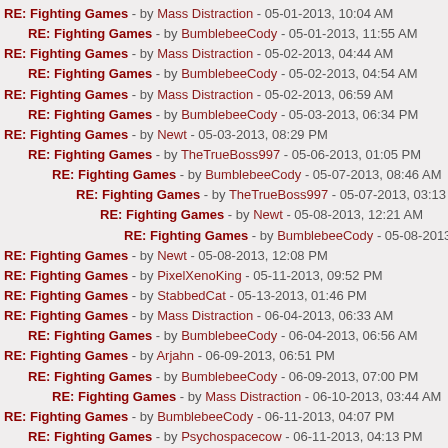RE: Fighting Games - by Mass Distraction - 05-01-2013, 10:04 AM
RE: Fighting Games - by BumblebeeCody - 05-01-2013, 11:55 AM
RE: Fighting Games - by Mass Distraction - 05-02-2013, 04:44 AM
RE: Fighting Games - by BumblebeeCody - 05-02-2013, 04:54 AM
RE: Fighting Games - by Mass Distraction - 05-02-2013, 06:59 AM
RE: Fighting Games - by BumblebeeCody - 05-03-2013, 06:34 PM
RE: Fighting Games - by Newt - 05-03-2013, 08:29 PM
RE: Fighting Games - by TheTrueBoss997 - 05-06-2013, 01:05 PM
RE: Fighting Games - by BumblebeeCody - 05-07-2013, 08:46 AM
RE: Fighting Games - by TheTrueBoss997 - 05-07-2013, 03:13 PM
RE: Fighting Games - by Newt - 05-08-2013, 12:21 AM
RE: Fighting Games - by BumblebeeCody - 05-08-2013, 09:15 AM
RE: Fighting Games - by Newt - 05-08-2013, 12:08 PM
RE: Fighting Games - by PixelXenoKing - 05-11-2013, 09:52 PM
RE: Fighting Games - by StabbedCat - 05-13-2013, 01:46 PM
RE: Fighting Games - by Mass Distraction - 06-04-2013, 06:33 AM
RE: Fighting Games - by BumblebeeCody - 06-04-2013, 06:56 AM
RE: Fighting Games - by Arjahn - 06-09-2013, 06:51 PM
RE: Fighting Games - by BumblebeeCody - 06-09-2013, 07:00 PM
RE: Fighting Games - by Mass Distraction - 06-10-2013, 03:44 AM
RE: Fighting Games - by BumblebeeCody - 06-11-2013, 04:07 PM
RE: Fighting Games - by Psychospacecow - 06-11-2013, 04:13 PM
RE: Fighting Games - by SuperMasterGamer - 06-11-2013, 05:52 PM
RE: Fighting Games - by BumblebeeCody - 06-12-2013, 06:57 PM
RE: Fighting Games - by SuperMasterGamer - 06-12-2013, 09:39 PM